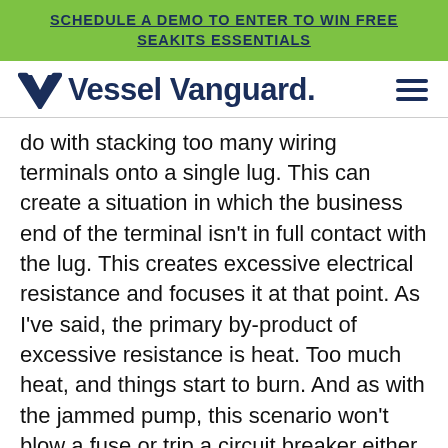SCHEDULE A DEMO TO ENTER TO WIN FREE SEAKITS ESSENTIALS
[Figure (logo): Vessel Vanguard logo with V chevron mark and hamburger menu icon]
do with stacking too many wiring terminals onto a single lug. This can create a situation in which the business end of the terminal isn't in full contact with the lug. This creates excessive electrical resistance and focuses it at that point. As I've said, the primary by-product of excessive resistance is heat. Too much heat, and things start to burn. And as with the jammed pump, this scenario won't blow a fuse or trip a circuit breaker either because excess resistance lowers amperage flow below the trip threshold of the fuse or